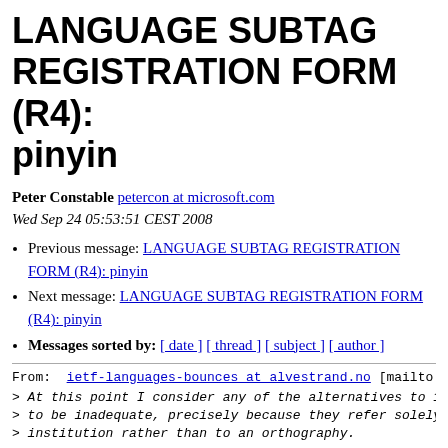LANGUAGE SUBTAG REGISTRATION FORM (R4): pinyin
Peter Constable petercon at microsoft.com
Wed Sep 24 05:53:51 CEST 2008
Previous message: LANGUAGE SUBTAG REGISTRATION FORM (R4): pinyin
Next message: LANGUAGE SUBTAG REGISTRATION FORM (R4): pinyin
Messages sorted by: [ date ] [ thread ] [ subject ] [ author ]
From: ietf-languages-bounces at alvestrand.no [mailto:iet
> At this point I consider any of the alternatives to 195
> to be inadequate, precisely because they refer solely t
> institution rather than to an orthography.
This is a fallacious argument. If you go back to Mark's o
3. Record Requested: